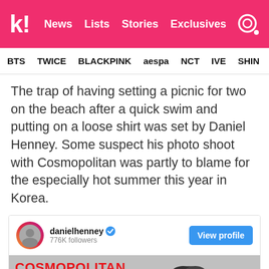k! News Lists Stories Exclusives
BTS TWICE BLACKPINK aespa NCT IVE SHINE
The trap of having setting a picnic for two on the beach after a quick swim and putting on a loose shirt was set by Daniel Henney. Some suspect his photo shoot with Cosmopolitan was partly to blame for the especially hot summer this year in Korea.
[Figure (screenshot): Instagram embed card for danielhenney with 776K followers, showing a Cosmopolitan magazine photo shoot black and white image of Daniel Henney at the beach, with a View profile button]